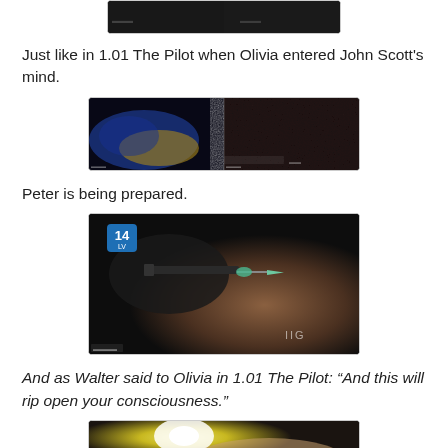[Figure (screenshot): Partial top of a dark TV show screenshot, two-panel side by side, cropped at top]
Just like in 1.01 The Pilot when Olivia entered John Scott's mind.
[Figure (screenshot): Two-panel screenshot from TV show: left panel shows blurry blue/yellow abstract image, right panel shows dark grainy texture]
Peter is being prepared.
[Figure (screenshot): Dark screenshot from TV show showing a needle/syringe being inserted into skin, with '14 LV' channel bug in top-left and 'IIG' watermark]
And as Walter said to Olivia in 1.01 The Pilot: “And this will rip open your consciousness.”
[Figure (screenshot): Partial screenshot (cropped at bottom) showing a glowing yellow/white light near what appears to be a hand or medical procedure]